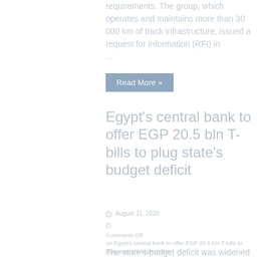requirements. The group, which operates and maintains more than 30 000 km of track infrastructure, issued a request for information (RFI) in ...
Read More »
Egypt's central bank to offer EGP 20.5 bln T-bills to plug state's budget deficit
August 21, 2020
Comments Off on Egypt's central bank to offer EGP 20.5 bln T-bills to plug state's budget deficit
The state's budget deficit was widened